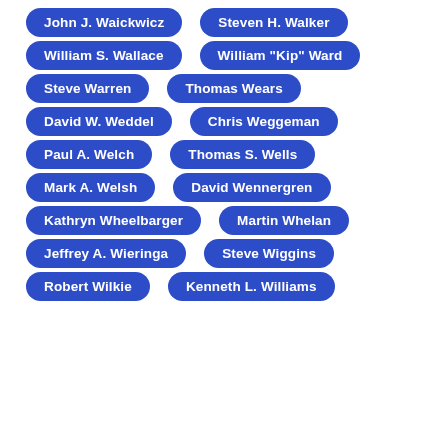John J. Waickwicz
Steven H. Walker
William S. Wallace
William "Kip" Ward
Steve Warren
Thomas Wears
David W. Weddel
Chris Weggeman
Paul A. Welch
Thomas S. Wells
Mark A. Welsh
David Wennergren
Kathryn Wheelbarger
Martin Whelan
Jeffrey A. Wieringa
Steve Wiggins
Robert Wilkie
Kenneth L. Williams